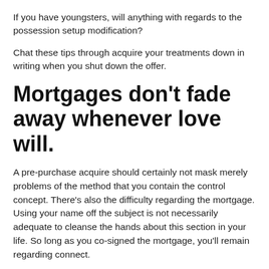If you have youngsters, will anything with regards to the possession setup modification?
Chat these tips through acquire your treatments down in writing when you shut down the offer.
Mortgages don’t fade away whenever love will.
A pre-purchase acquire should certainly not mask merely problems of the method that you contain the control concept. There’s also the difficulty regarding the mortgage. Using your name off the subject is not necessarily adequate to cleanse the hands about this section in your life. So long as you co-signed the mortgage, you’ll remain regarding connect.
That suggests their unique borrowing limit ? the money they can need from financial institutions ? could remain tangled